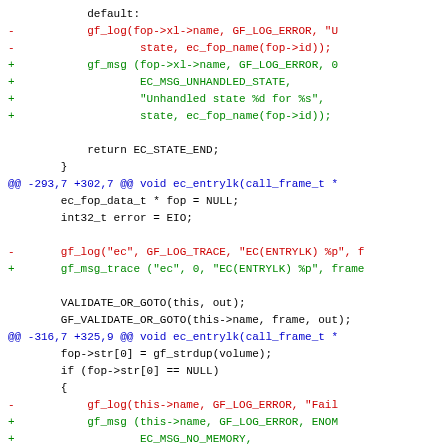[Figure (screenshot): A code diff showing changes to C source file, with red lines for removed code, green lines for added code, and blue lines for diff hunk headers. Context lines are shown in black.]